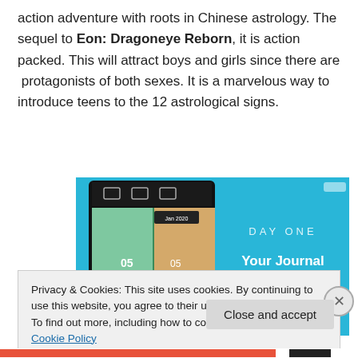action adventure with roots in Chinese astrology. The sequel to Eon: Dragoneye Reborn, it is action packed. This will attract boys and girls since there are  protagonists of both sexes. It is a marvelous way to introduce teens to the 12 astrological signs.
[Figure (screenshot): Screenshot of the Day One journaling app showing app interface on left (dark UI with photos calendar view) and promotional image on right with light blue background reading 'DAY ONE — Your Journal for life']
Privacy & Cookies: This site uses cookies. By continuing to use this website, you agree to their use.
To find out more, including how to control cookies, see here: Cookie Policy
Close and accept